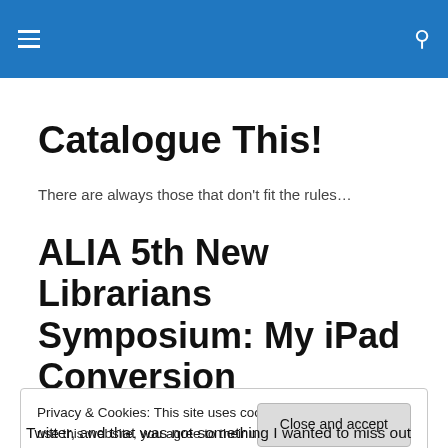≡  🔍
Catalogue This!
There are always those that don't fit the rules…
ALIA 5th New Librarians Symposium: My iPad Conversion
Privacy & Cookies: This site uses cookies. By continuing to use this website, you agree to their use.
To find out more, including how to control cookies, see here: Cookie Policy
Close and accept
Twitter, and that was not something I wanted to miss out